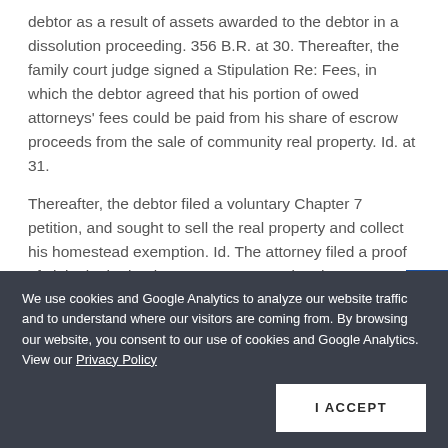debtor as a result of assets awarded to the debtor in a dissolution proceeding. 356 B.R. at 30. Thereafter, the family court judge signed a Stipulation Re: Fees, in which the debtor agreed that his portion of owed attorneys' fees could be paid from his share of escrow proceeds from the sale of community real property. Id. at 31.
Thereafter, the debtor filed a voluntary Chapter 7 petition, and sought to sell the real property and collect his homestead exemption. Id. The attorney filed a proof of claim in the bankruptcy case, asserting that, pursuant to the charging lien, she
We use cookies and Google Analytics to analyze our website traffic and to understand where our visitors are coming from. By browsing our website, you consent to our use of cookies and Google Analytics. View our Privacy Policy